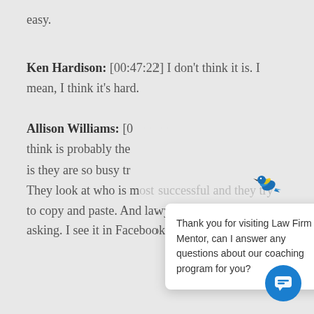easy.
Ken Hardison: [00:47:22] I don't think it is. I mean, I think it's hard.
Allison Williams: [00:...] think is probably the ... is they are so busy tr... They look at who is most successful and they try to copy and paste. And lawyers are always asking. I see it in Facebook groups online. I se...
[Figure (screenshot): Chat popup with Law Firm Mentor bird logo, close button, and message: Thank you for visiting Law Firm Mentor, can I answer any questions about our coaching program for you? Blue chat button in lower right corner.]